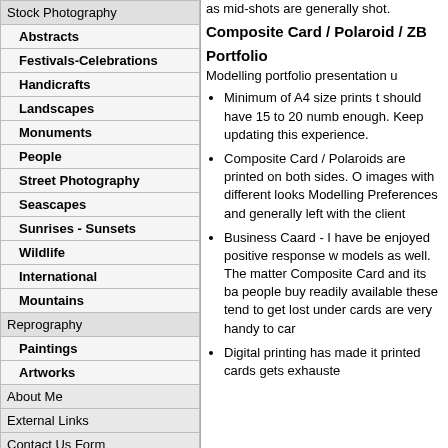| Stock Photography |
| Abstracts |
| Festivals-Celebrations |
| Handicrafts |
| Landscapes |
| Monuments |
| People |
| Street Photography |
| Seascapes |
| Sunrises - Sunsets |
| Wildlife |
| International |
| Mountains |
| Reprography |
| Paintings |
| Artworks |
| About Me |
| External Links |
| Contact Us Form |
| Home |
[Figure (logo): Facebook logo blue square with white 'f']
as mid-shots are generally shot.
Composite Card / Polaroid / ZB
Portfolio
Modelling portfolio presentation u
Minimum of A4 size prints t should have 15 to 20 numb enough. Keep updating this experience.
Composite Card / Polaroids are printed on both sides. O images with different looks Modelling Preferences and generally left with the client
Business Caard - I have be enjoyed positive response w models as well. The matter Composite Card and its ba people buy readily available these tend to get lost under cards are very handy to car
Digital printing has made it printed cards gets exhauste